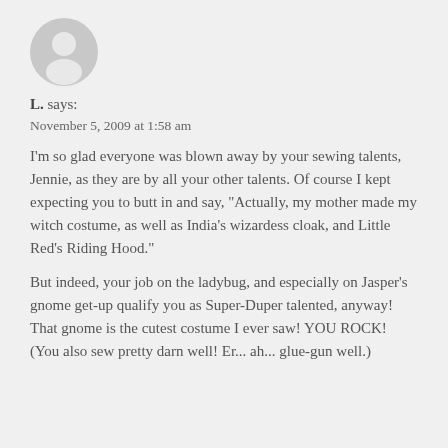[Figure (illustration): Grey placeholder avatar icon showing a silhouette of a person (head and shoulders) inside a circle, typical of a default user profile image.]
L. says:
November 5, 2009 at 1:58 am
I'm so glad everyone was blown away by your sewing talents, Jennie, as they are by all your other talents. Of course I kept expecting you to butt in and say, "Actually, my mother made my witch costume, as well as India's wizardess cloak, and Little Red's Riding Hood."
But indeed, your job on the ladybug, and especially on Jasper's gnome get-up qualify you as Super-Duper talented, anyway! That gnome is the cutest costume I ever saw! YOU ROCK! (You also sew pretty darn well! Er... ah... glue-gun well.)